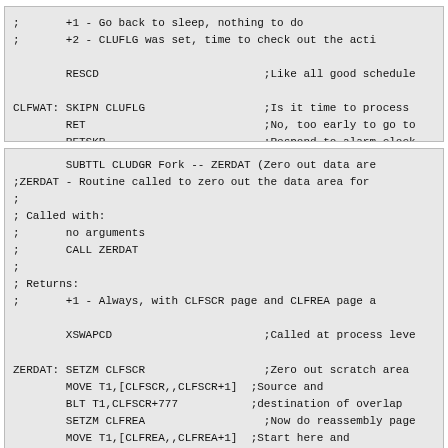; +1 - Go back to sleep, nothing to do
; +2 - CLUFLG was set, time to check out the acti

      RESCD                         ;Like all good schedule

CLFWAT: SKIPN CLUFLG                  ;Is it time to process
        RET                           ;No, too early to go to
        RETSKP                        ;Respond to alarm clock
SUBTTL CLUDGR Fork -- ZERDAT (Zero out data are
;ZERDAT - Routine called to zero out the data area for
;
; Called with:
;       no arguments
;       CALL ZERDAT
;
; Returns:
;       +1 - Always, with CLFSCR page and CLFREA page a

      XSWAPCD                       ;Called at process leve

ZERDAT: SETZM CLFSCR                  ;Zero out scratch area
        MOVE T1,[CLFSCR,,CLFSCR+1]  ;Source and
        BLT T1,CLFSCR+777           ;destination of overlap
        SETZM CLFREA                  ;Now do reassembly page
        MOVE T1,[CLFREA,,CLFREA+1]  ;Start here and
        BLT T1,CLFREA+777           ;do up to here
        RET                           ;All zeroed